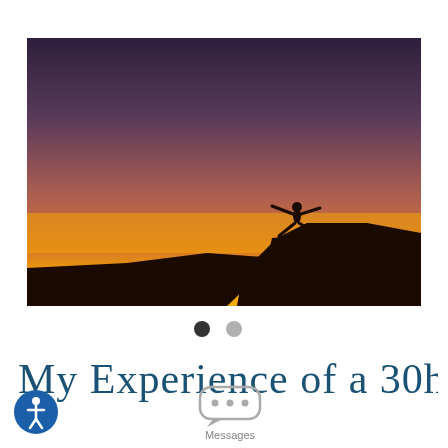[Figure (photo): Silhouette of a person in a yoga warrior pose on top of a hill against a dramatic sunset sky transitioning from purple/dark at top to orange/yellow at horizon, with dark foreground hills.]
[Figure (other): Carousel pagination dots: one dark/filled dot and one light/grey dot indicating a two-image slideshow with the first slide active.]
My Experience of a 30hr
[Figure (other): Messages app icon: speech bubble with three dots inside, labeled 'Messages'.]
[Figure (other): Accessibility icon: blue circle with white wheelchair/person icon.]